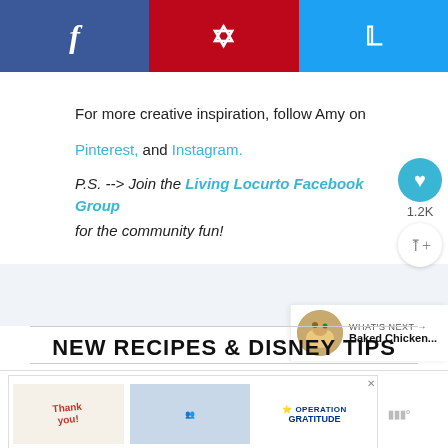[Figure (screenshot): Social sharing bar with Facebook (blue), Pinterest (red), and Twitter (light blue) buttons]
For more creative inspiration, follow Amy on
Pinterest, and Instagram.
P.S. --> Join the Living Locurto Facebook Group for the community fun!
NEW RECIPES & DISNEY TIPS
20 Fall Dessert Recipes
[Figure (screenshot): Advertisement banner: Operation Gratitude thank you ad with people holding yellow boxes]